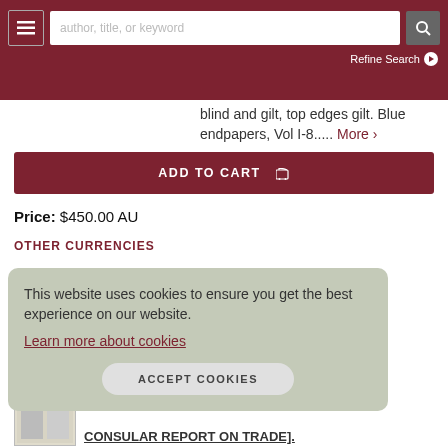author, title, or keyword  Refine Search
blind and gilt, top edges gilt. Blue endpapers, Vol I-8..... More >
ADD TO CART
Price: $450.00 AU
OTHER CURRENCIES
This website uses cookies to ensure you get the best experience on our website.
Learn more about cookies
ACCEPT COOKIES
CONSULAR REPORT ON TRADE].